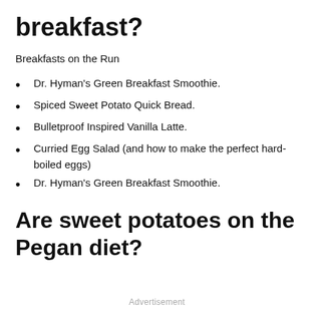breakfast?
Breakfasts on the Run
Dr. Hyman's Green Breakfast Smoothie.
Spiced Sweet Potato Quick Bread.
Bulletproof Inspired Vanilla Latte.
Curried Egg Salad (and how to make the perfect hard-boiled eggs)
Dr. Hyman's Green Breakfast Smoothie.
Are sweet potatoes on the Pegan diet?
Advertisement